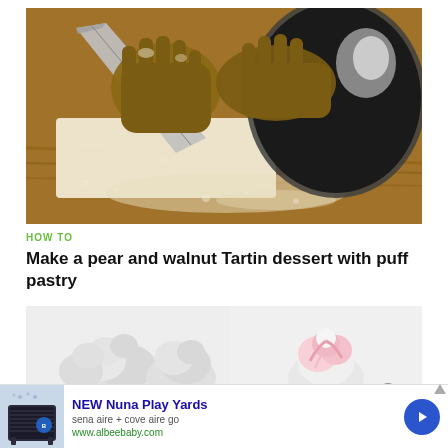[Figure (photo): Close-up of hands working with puff pastry dough on a wooden surface, using a knife and a round metal baking tin, with flour dusted around]
HOW TO
Make a pear and walnut Tartin dessert with puff pastry
[Figure (photo): Two side-by-side images: left shows white whipped cream or meringue shapes on light background; right shows pink and white decorative item on light background]
[Figure (infographic): Advertisement banner: NEW Nuna Play Yards, sena aire + cove aire go, www.albeebaby.com, with product image and blue arrow button]